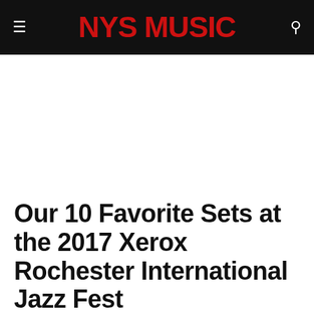NYS MUSIC
Our 10 Favorite Sets at the 2017 Xerox Rochester International Jazz Fest